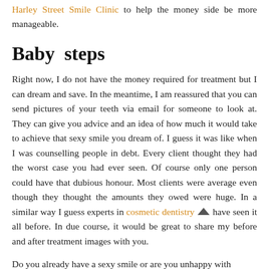Harley Street Smile Clinic to help the money side be more manageable.
Baby steps
Right now, I do not have the money required for treatment but I can dream and save. In the meantime, I am reassured that you can send pictures of your teeth via email for someone to look at. They can give you advice and an idea of how much it would take to achieve that sexy smile you dream of. I guess it was like when I was counselling people in debt. Every client thought they had the worst case you had ever seen. Of course only one person could have that dubious honour. Most clients were average even though they thought the amounts they owed were huge. In a similar way I guess experts in cosmetic dentistry have seen it all before. In due course, it would be great to share my before and after treatment images with you.
Do you already have a sexy smile or are you unhappy with